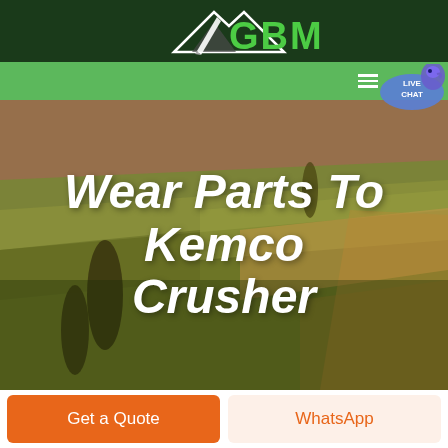[Figure (logo): GBM logo with white mountain/arrow icon and green GBM text on dark green background]
Navigation bar with hamburger menu and LIVE CHAT button
[Figure (photo): Aerial view of green farmland fields with rolling hills and dark cypress trees, warm golden-green tones]
Wear Parts To Kemco Crusher
Get a Quote
WhatsApp